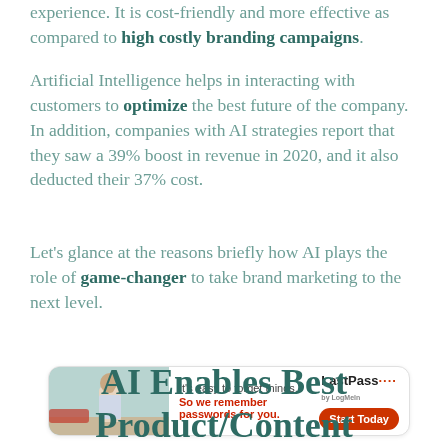experience. It is cost-friendly and more effective as compared to high costly branding campaigns.
Artificial Intelligence helps in interacting with customers to optimize the best future of the company. In addition, companies with AI strategies report that they saw a 39% boost in revenue in 2020, and it also deducted their 37% cost.
Let's glance at the reasons briefly how AI plays the role of game-changer to take brand marketing to the next level.
[Figure (other): LastPass advertisement banner with a person holding their head, text 'It's easy to forget things. So we remember passwords for you.' and a red 'Start Today' button with LastPass logo.]
AI Enables Best Product/Content